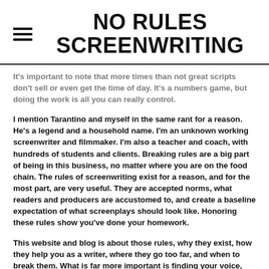NO RULES SCREENWRITING
It's important to note that more times than not great scripts don't sell or even get the time of day. It's a numbers game, but doing the work is all you can really control.
I mention Tarantino and myself in the same rant for a reason. He's a legend and a household name. I'm an unknown working screenwriter and filmmaker. I'm also a teacher and coach, with hundreds of students and clients. Breaking rules are a big part of being in this business, no matter where you are on the food chain. The rules of screenwriting exist for a reason, and for the most part, are very useful. They are accepted norms, what readers and producers are accustomed to, and create a baseline expectation of what screenplays should look like. Honoring these rules show you've done your homework.
This website and blog is about those rules, why they exist, how they help you as a writer, where they go too far, and when to break them. What is far more important is finding your voice, using the rules where they work, and destroying them when it serves your story. I